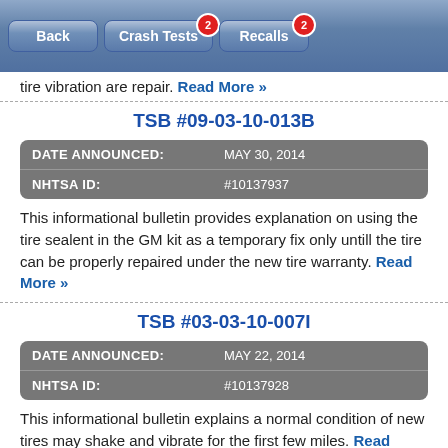Back | Crash Tests (2) | Recalls (2)
tire vibration are repair. Read More »
TSB #09-03-10-013B
| DATE ANNOUNCED: | MAY 30, 2014 |
| --- | --- |
| NHTSA ID: | #10137937 |
This informational bulletin provides explanation on using the tire sealent in the GM kit as a temporary fix only untill the tire can be properly repaired under the new tire warranty. Read More »
TSB #03-03-10-007I
| DATE ANNOUNCED: | MAY 22, 2014 |
| --- | --- |
| NHTSA ID: | #10137928 |
This informational bulletin explains a normal condition of new tires may shake and vibrate for the first few miles. Read More »